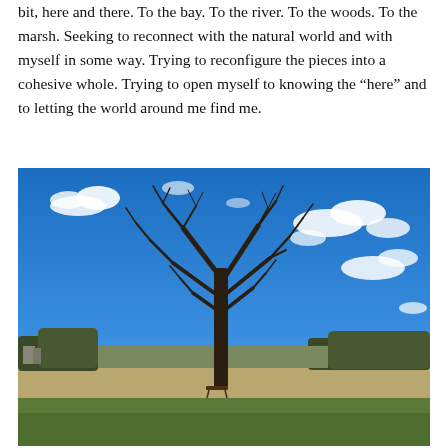bit, here and there. To the bay. To the river. To the woods. To the marsh. Seeking to reconnect with the natural world and with myself in some way. Trying to reconfigure the pieces into a cohesive whole. Trying to open myself to knowing the “here” and to letting the world around me find me.
[Figure (photo): A bare leafless tree standing alone in a wide open marsh/meadow landscape under a vivid blue sky with scattered white clouds. A small bench is visible near the base of the tree. The background shows a treeline and open fields.]